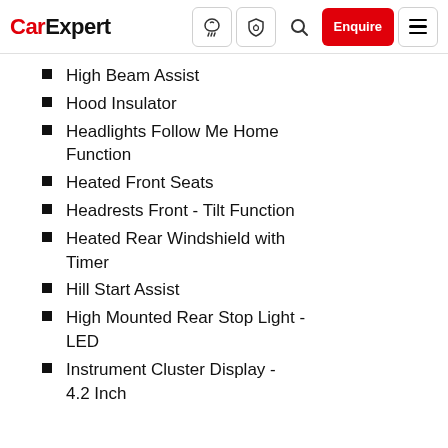CarExpert
High Beam Assist
Hood Insulator
Headlights Follow Me Home Function
Heated Front Seats
Headrests Front - Tilt Function
Heated Rear Windshield with Timer
Hill Start Assist
High Mounted Rear Stop Light - LED
Instrument Cluster Display - 4.2 Inch